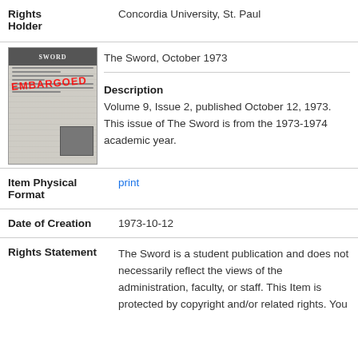Rights Holder: Concordia University, St. Paul
[Figure (photo): Thumbnail of newspaper 'The Sword' with EMBARGOED overlay in red text]
Title: The Sword, October 1973
Description: Volume 9, Issue 2, published October 12, 1973. This issue of The Sword is from the 1973-1974 academic year.
Item Physical Format: print
Date of Creation: 1973-10-12
Rights Statement: The Sword is a student publication and does not necessarily reflect the views of the administration, faculty, or staff. This Item is protected by copyright and/or related rights. You